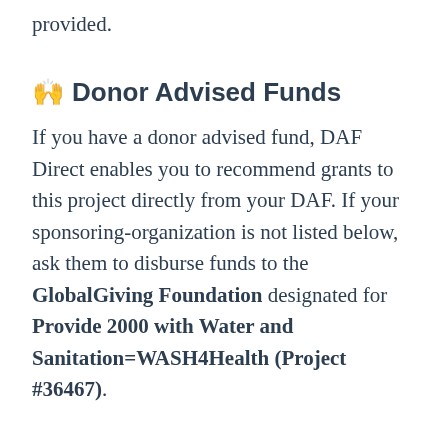provided.
🙌 Donor Advised Funds
If you have a donor advised fund, DAF Direct enables you to recommend grants to this project directly from your DAF. If your sponsoring-organization is not listed below, ask them to disburse funds to the GlobalGiving Foundation designated for Provide 2000 with Water and Sanitation=WASH4Health (Project #36467).